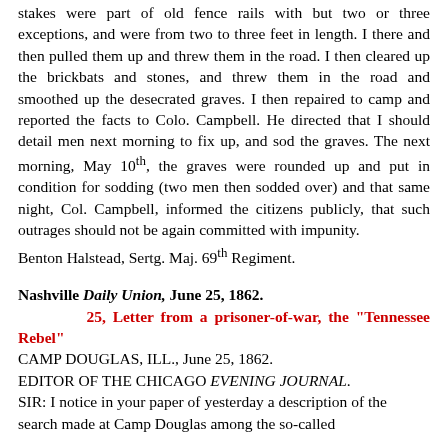stakes were part of old fence rails with but two or three exceptions, and were from two to three feet in length. I there and then pulled them up and threw them in the road. I then cleared up the brickbats and stones, and threw them in the road and smoothed up the desecrated graves. I then repaired to camp and reported the facts to Colo. Campbell. He directed that I should detail men next morning to fix up, and sod the graves. The next morning, May 10th, the graves were rounded up and put in condition for sodding (two men then sodded over) and that same night, Col. Campbell, informed the citizens publicly, that such outrages should not be again committed with impunity.
Benton Halstead, Sertg. Maj. 69th Regiment.
Nashville Daily Union, June 25, 1862.
25, Letter from a prisoner-of-war, the "Tennessee Rebel"
CAMP DOUGLAS, ILL., June 25, 1862.
EDITOR OF THE CHICAGO EVENING JOURNAL.
SIR: I notice in your paper of yesterday a description of the search made at Camp Douglas among the so-called